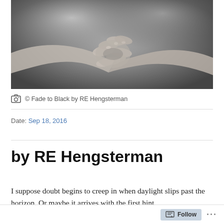[Figure (photo): Black and white photograph of two hands clasped together, intertwined fingers, close-up shot]
© Fade to Black by RE Hengsterman
Date: Sep 18, 2016
by RE Hengsterman
I suppose doubt begins to creep in when daylight slips past the horizon. Or maybe it arrives with the first hint